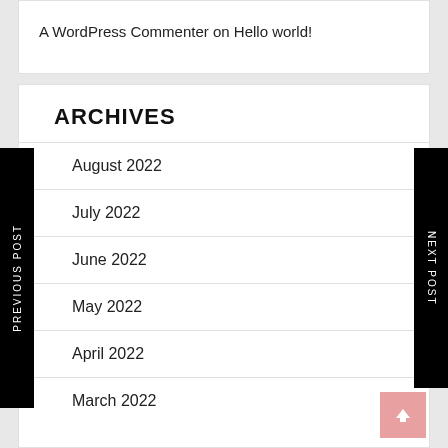A WordPress Commenter on Hello world!
ARCHIVES
August 2022
July 2022
June 2022
May 2022
April 2022
March 2022